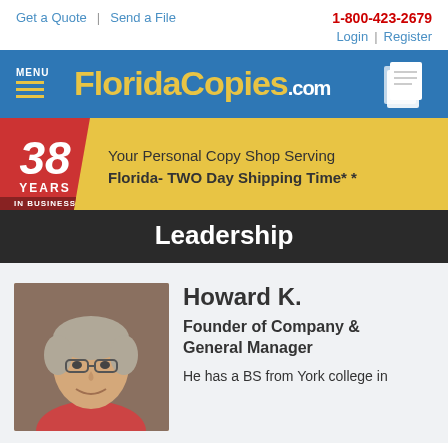Get a Quote | Send a File | 1-800-423-2679 | Login | Register
[Figure (logo): FloridaCopies.com logo with blue header bar, hamburger menu icon, and paper icon]
[Figure (infographic): 38 Years In Business badge with yellow banner: Your Personal Copy Shop Serving Florida- TWO Day Shipping Time* *]
Leadership
[Figure (photo): Photo of Howard K., older man with gray hair and glasses, smiling]
Howard K.
Founder of Company & General Manager
He has a BS from York college in